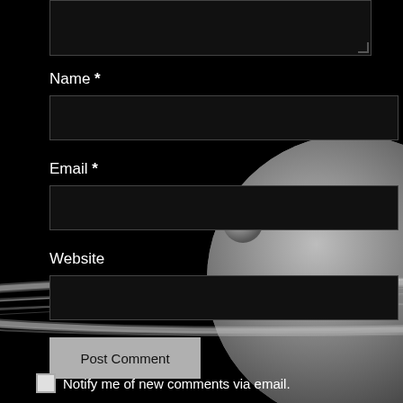[Figure (photo): Black background with Saturn and its rings visible, plus a moon, composing the background of a blog comment form.]
Name *
Email *
Website
Post Comment
Notify me of new comments via email.